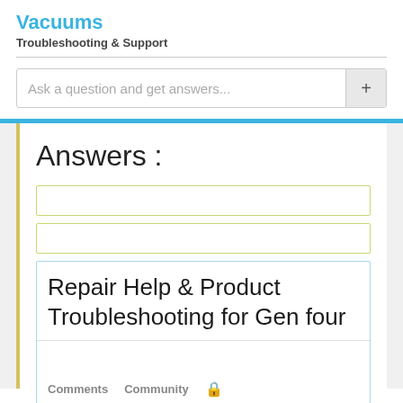Vacuums
Troubleshooting & Support
Ask a question and get answers...
Answers :
Repair Help & Product Troubleshooting for Gen four
Comments   Community   🔒